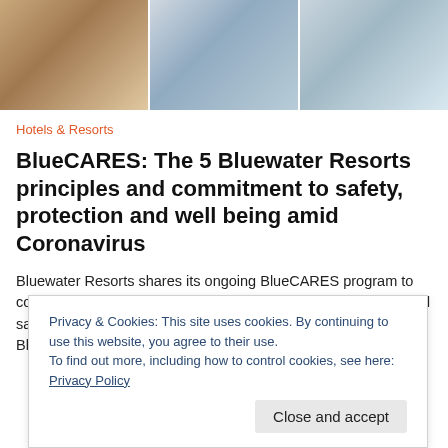[Figure (photo): Three-panel header photo showing hotel/resort scenes: person at counter, person with blue gloves, person viewing tablet menu]
Hotels & Resorts
BlueCARES: The 5 Bluewater Resorts principles and commitment to safety, protection and well being amid Coronavirus
Bluewater Resorts shares its ongoing BlueCARES program to counter the effects of the Coronavirus and ensure the health and safety of guests, employees, and its surrounding community. BlueCARES Initiative was originally developed in response to the fast-changing conditions presented by COVID-19. Since then, it has become a
Privacy & Cookies: This site uses cookies. By continuing to use this website, you agree to their use.
To find out more, including how to control cookies, see here: Privacy Policy
Close and accept